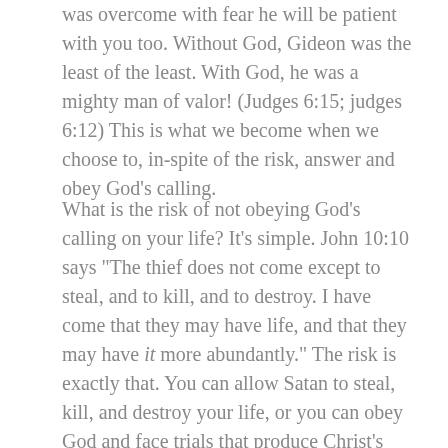was overcome with fear he will be patient with you too. Without God, Gideon was the least of the least. With God, he was a mighty man of valor! (Judges 6:15; judges 6:12) This is what we become when we choose to, in-spite of the risk, answer and obey God's calling.
What is the risk of not obeying God's calling on your life? It's simple. John 10:10 says "The thief does not come except to steal, and to kill, and to destroy. I have come that they may have life, and that they may have it more abundantly." The risk is exactly that. You can allow Satan to steal, kill, and destroy your life, or you can obey God and face trials that produce Christ's character in you and please Him. Which risk will you choose to take?